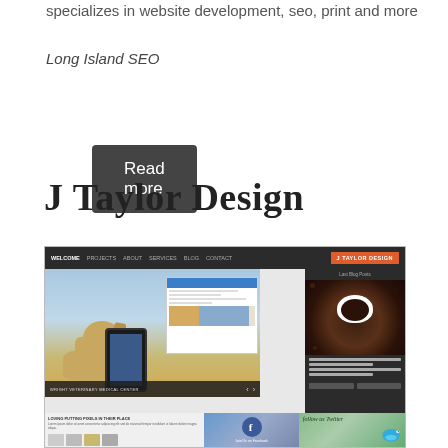specializes in website development, seo, print and more
Long Island SEO
Read more
J Taylor Design
[Figure (screenshot): Screenshot of J Taylor Design website showing dark navigation bar with menu items (Projects, About, Services, Blog, Contact) and orange J Taylor Design logo on right. Main content shows dog photo with veterinary website overlay and phone mockup, blog panel with coffee cup image on right, and bottom row with Facebook and Twitter social panels.]